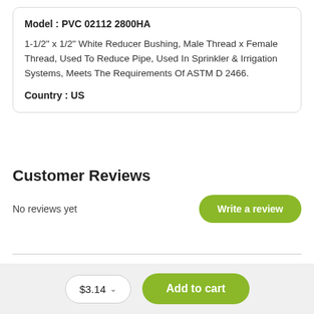Model : PVC 02112 2800HA
1-1/2" x 1/2" White Reducer Bushing, Male Thread x Female Thread, Used To Reduce Pipe, Used In Sprinkler & Irrigation Systems, Meets The Requirements Of ASTM D 2466.
Country : US
Customer Reviews
No reviews yet
Write a review
$3.14
Add to cart